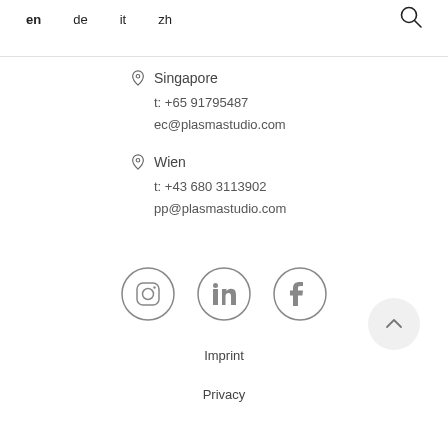en  de  it  zh
Singapore
t: +65 91795487
ec@plasmastudio.com
Wien
t: +43 680 3113902
pp@plasmastudio.com
[Figure (other): Social media icons: Instagram, LinkedIn, Facebook in circular outlines]
Imprint
Privacy